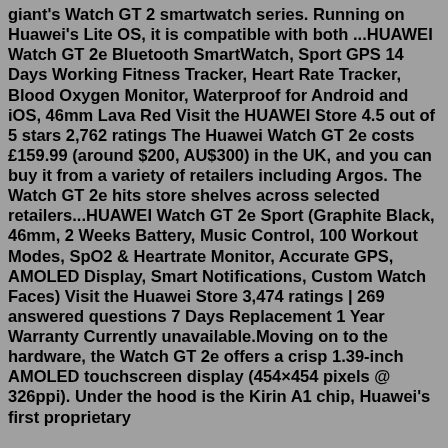giant's Watch GT 2 smartwatch series. Running on Huawei's Lite OS, it is compatible with both ...HUAWEI Watch GT 2e Bluetooth SmartWatch, Sport GPS 14 Days Working Fitness Tracker, Heart Rate Tracker, Blood Oxygen Monitor, Waterproof for Android and iOS, 46mm Lava Red Visit the HUAWEI Store 4.5 out of 5 stars 2,762 ratings The Huawei Watch GT 2e costs £159.99 (around $200, AU$300) in the UK, and you can buy it from a variety of retailers including Argos. The Watch GT 2e hits store shelves across selected retailers...HUAWEI Watch GT 2e Sport (Graphite Black, 46mm, 2 Weeks Battery, Music Control, 100 Workout Modes, SpO2 & Heartrate Monitor, Accurate GPS, AMOLED Display, Smart Notifications, Custom Watch Faces) Visit the Huawei Store 3,474 ratings | 269 answered questions 7 Days Replacement 1 Year Warranty Currently unavailable.Moving on to the hardware, the Watch GT 2e offers a crisp 1.39-inch AMOLED touchscreen display (454×454 pixels @ 326ppi). Under the hood is the Kirin A1 chip, Huawei's first proprietary